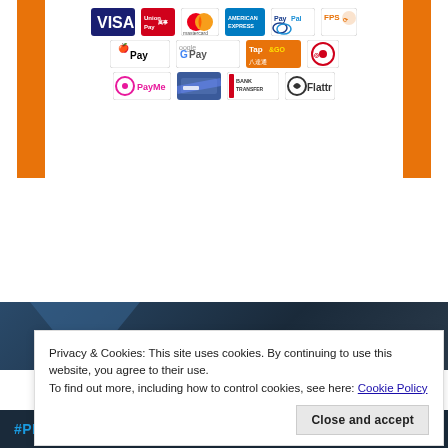[Figure (infographic): Payment methods banner with orange side borders showing logos: Visa, UnionPay, Mastercard, American Express, PayPal, FPS, Apple Pay, Google Pay, Tap&Go, Octopus, PayMe, Bank Transfer card, BANK TRANSFER, Flattr]
[Figure (photo): Dark blue/navy background image strip, partially visible behind cookie consent banner]
Privacy & Cookies: This site uses cookies. By continuing to use this website, you agree to their use.
To find out more, including how to control cookies, see here: Cookie Policy
Close and accept
[Figure (photo): Bottom strip showing partial image with #PRESSING ON text in blue on dark background]